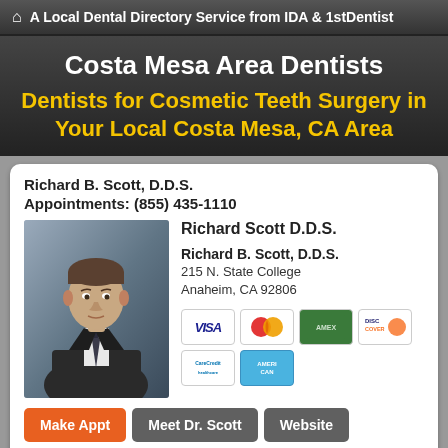A Local Dental Directory Service from IDA & 1stDentist
Costa Mesa Area Dentists
Dentists for Cosmetic Teeth Surgery in Your Local Costa Mesa, CA Area
Richard B. Scott, D.D.S.
Appointments: (855) 435-1110
[Figure (photo): Portrait photo of Dr. Richard B. Scott in a dark suit against a blue-grey background]
Richard Scott D.D.S.
Richard B. Scott, D.D.S.
215 N. State College
Anaheim, CA 92806
[Figure (other): Payment method icons: VISA, MasterCard, American Express (green), Discover, CareCredit, American Express (blue)]
Make Appt   Meet Dr. Scott   Website
more info ...